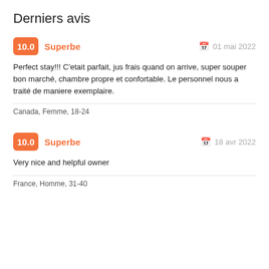Derniers avis
10.0  Superbe  01 mai 2022
Perfect stay!!! C'etait parfait, jus frais quand on arrive, super souper bon marché, chambre propre et confortable. Le personnel nous a traité de maniere exemplaire.
Canada, Femme, 18-24
10.0  Superbe  18 avr 2022
Very nice and helpful owner
France, Homme, 31-40